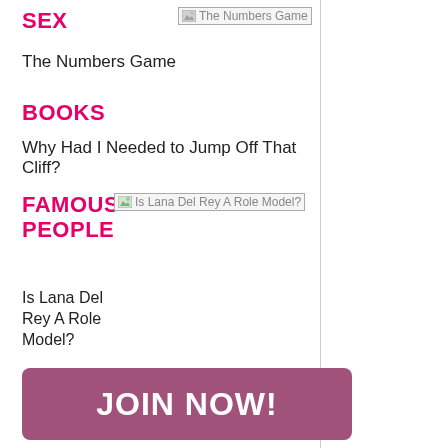SEX
[Figure (other): Broken image placeholder for 'The Numbers Game']
The Numbers Game
BOOKS
Why Had I Needed to Jump Off That Cliff?
FAMOUS PEOPLE
[Figure (other): Broken image placeholder for 'Is Lana Del Rey A Role Model?']
Is Lana Del Rey A Role Model?
[Figure (other): Broken image placeholder for 'How I Got $1,000 Back From My Pot-Dealing Ex']
JOIN NOW!